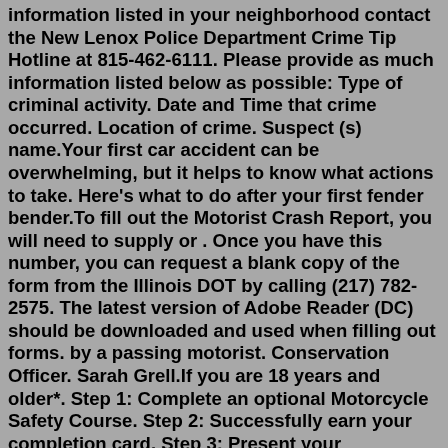information listed in your neighborhood contact the New Lenox Police Department Crime Tip Hotline at 815-462-6111. Please provide as much information listed below as possible: Type of criminal activity. Date and Time that crime occurred. Location of crime. Suspect (s) name.Your first car accident can be overwhelming, but it helps to know what actions to take. Here's what to do after your first fender bender.To fill out the Motorist Crash Report, you will need to supply or . Once you have this number, you can request a blank copy of the form from the Illinois DOT by calling (217) 782-2575. The latest version of Adobe Reader (DC) should be downloaded and used when filling out forms. by a passing motorist. Conservation Officer. Sarah Grell.If you are 18 years and older*. Step 1: Complete an optional Motorcycle Safety Course. Step 2: Successfully earn your completion card. Step 3: Present your completion card at an Illinois Secretary of State Driver's Services Facility; no testing required*. If you are 16 to 17 years old…"/> how to fill out illinois motorist report